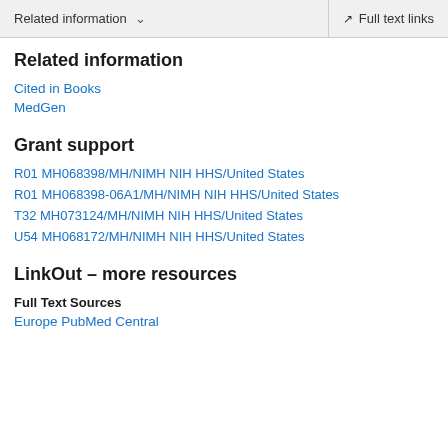Related information  ∨   Full text links
Related information
Cited in Books
MedGen
Grant support
R01 MH068398/MH/NIMH NIH HHS/United States
R01 MH068398-06A1/MH/NIMH NIH HHS/United States
T32 MH073124/MH/NIMH NIH HHS/United States
U54 MH068172/MH/NIMH NIH HHS/United States
LinkOut – more resources
Full Text Sources
Europe PubMed Central